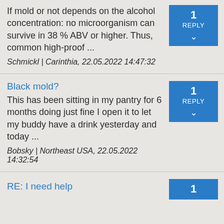If mold or not depends on the alcohol concentration: no microorganism can survive in 38 % ABV or higher. Thus, common high-proof ...
Schmickl | Carinthia, 22.05.2022 14:47:32
Black mold?
This has been sitting in my pantry for 6 months doing just fine I open it to let my buddy have a drink yesterday and today ...
Bobsky | Northeast USA, 22.05.2022 14:32:54
RE: I need help